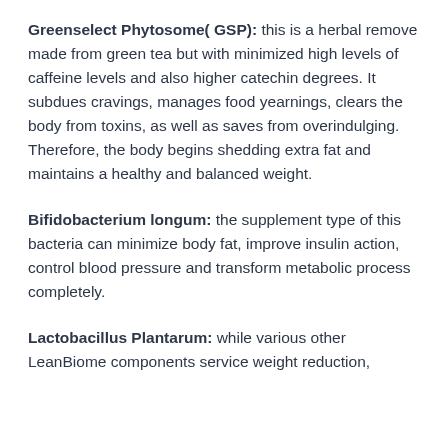Greenselect Phytosome( GSP): this is a herbal remove made from green tea but with minimized high levels of caffeine levels and also higher catechin degrees. It subdues cravings, manages food yearnings, clears the body from toxins, as well as saves from overindulging. Therefore, the body begins shedding extra fat and maintains a healthy and balanced weight.
Bifidobacterium longum: the supplement type of this bacteria can minimize body fat, improve insulin action, control blood pressure and transform metabolic process completely.
Lactobacillus Plantarum: while various other LeanBiome components service weight reduction,